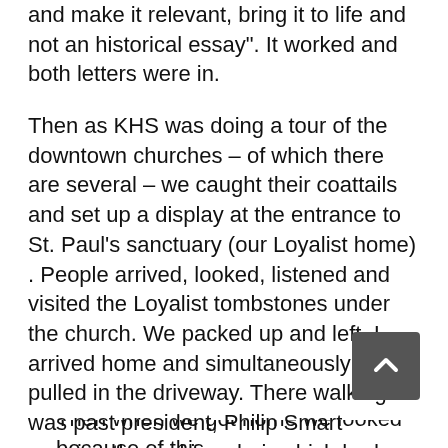and make it relevant, bring it to life and not an historical essay". It worked and both letters were in.
Then as KHS was doing a tour of the downtown churches – of which there are several – we caught their coattails and set up a display at the entrance to St. Paul's sanctuary (our Loyalist home) . People arrived, looked, listened and visited the Loyalist tombstones under the church. We packed up and left. I arrived home and simultaneously a car pulled in the driveway. There walking in was past president, Philip Smart carrying the rocking chair which had cradled my Asselstine Woolen Mill-made antique wool blanket in the display. I cried, "But it's not mine, we borrowed it from the nursery!!". Later I phoned the church and said the chair "had been temporarily removed from the premises" not stolen!
Then when we got home we looked because of this additional...